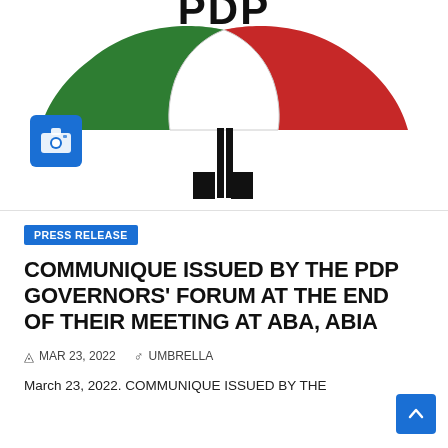[Figure (logo): PDP (Peoples Democratic Party) umbrella logo with green left panel, red right panel, white center, black handle, and 'PDP' text in bold black at top. A blue camera icon badge is overlaid at lower left.]
PRESS RELEASE
COMMUNIQUE ISSUED BY THE PDP GOVERNORS' FORUM AT THE END OF THEIR MEETING AT ABA, ABIA
MAR 23, 2022   UMBRELLA
March 23, 2022. COMMUNIQUE ISSUED BY THE